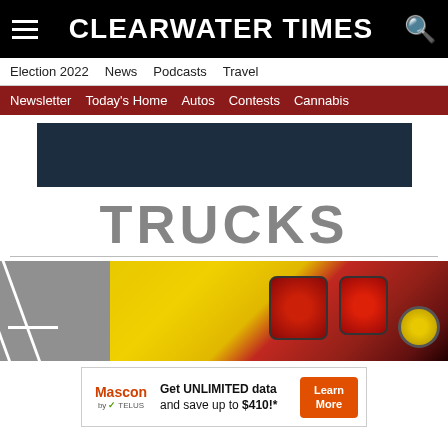CLEARWATER TIMES
Election 2022  News  Podcasts  Travel
Newsletter  Today's Home  Autos  Contests  Cannabis
[Figure (other): Dark navy blue advertisement banner placeholder]
TRUCKS
[Figure (photo): Photo of back end of a yellow truck in a parking lot with red tail lights and a yellow gas cap]
[Figure (other): Mascon by TELUS advertisement: Get UNLIMITED data and save up to $410!* with Learn More button]